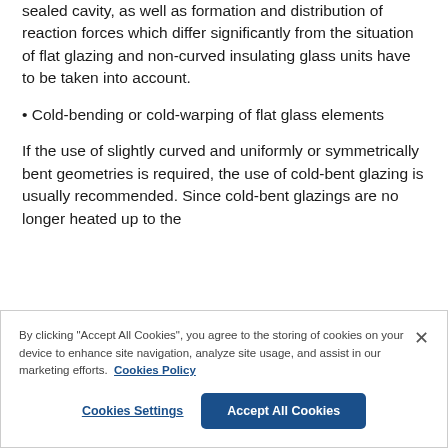sealed cavity, as well as formation and distribution of reaction forces which differ significantly from the situation of flat glazing and non-curved insulating glass units have to be taken into account.
• Cold-bending or cold-warping of flat glass elements
If the use of slightly curved and uniformly or symmetrically bent geometries is required, the use of cold-bent glazing is usually recommended. Since cold-bent glazings are no longer heated up to the
By clicking "Accept All Cookies", you agree to the storing of cookies on your device to enhance site navigation, analyze site usage, and assist in our marketing efforts. Cookies Policy
Cookies Settings
Accept All Cookies